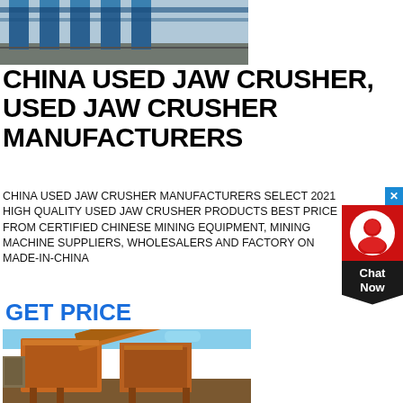[Figure (photo): Top partial image of industrial machinery with blue steel structure visible at top]
CHINA USED JAW CRUSHER, USED JAW CRUSHER MANUFACTURERS
CHINA USED JAW CRUSHER MANUFACTURERS SELECT 2021 HIGH QUALITY USED JAW CRUSHER PRODUCTS BEST PRICE FROM CERTIFIED CHINESE MINING EQUIPMENT, MINING MACHINE SUPPLIERS, WHOLESALERS AND FACTORY ON MADE-IN-CHINA
[Figure (other): Chat widget with red icon box, person silhouette, and Chat Now label]
GET PRICE
[Figure (photo): Large orange used jaw crusher / mining equipment photographed outdoors on a construction/mining site under blue sky]